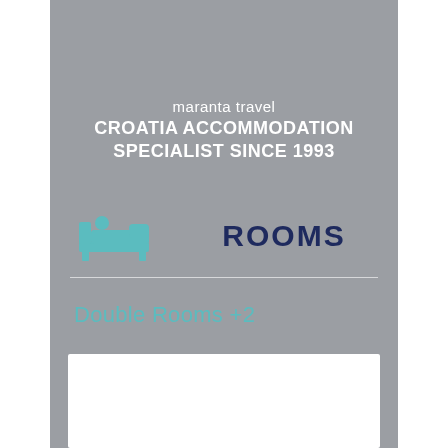[Figure (screenshot): Pink banner at top of mobile app screen for Maranta Travel Croatia]
maranta travel CROATIA ACCOMMODATION SPECIALIST SINCE 1993
[Figure (illustration): Teal bed/hotel room icon]
ROOMS
Double Rooms  +2
[Figure (screenshot): White carousel image area with left and right navigation arrows]